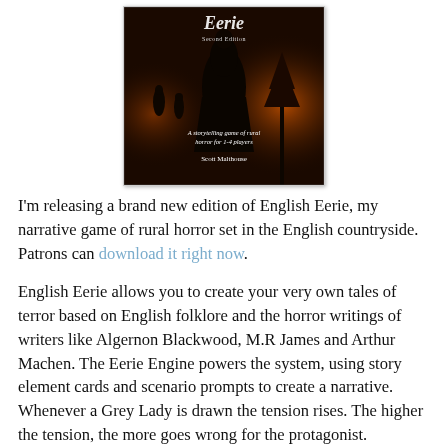[Figure (illustration): Book cover of 'English Eerie Second Edition' — a dark atmospheric image showing a robed figure at night with fire in the background. White italic text reads 'A storytelling game of rural horror for 1-4 players' and 'Scott Malthouse'.]
I'm releasing a brand new edition of English Eerie, my narrative game of rural horror set in the English countryside. Patrons can download it right now.
English Eerie allows you to create your very own tales of terror based on English folklore and the horror writings of writers like Algernon Blackwood, M.R James and Arthur Machen. The Eerie Engine powers the system, using story element cards and scenario prompts to create a narrative. Whenever a Grey Lady is drawn the tension rises. The higher the tension, the more goes wrong for the protagonist.